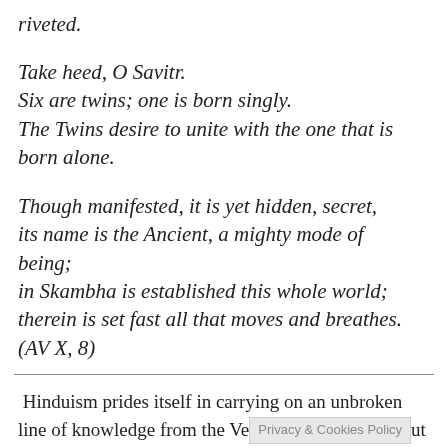riveted.
Take heed, O Savitr.
Six are twins; one is born singly.
The Twins desire to unite with the one that is born alone.
Though manifested, it is yet hidden, secret,
its name is the Ancient, a mighty mode of being;
in Skambha is established this whole world;
therein is set fast all that moves and breathes.
(AV X, 8)
Hinduism prides itself in carrying on an unbroken line of knowledge from the Ve[Privacy & Cookies Policy]ut as things